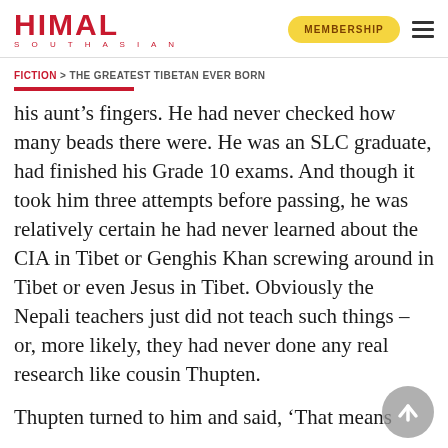HIMAL SOUTHASIAN | MEMBERSHIP
FICTION > THE GREATEST TIBETAN EVER BORN
his aunt’s fingers. He had never checked how many beads there were. He was an SLC graduate, had finished his Grade 10 exams. And though it took him three attempts before passing, he was relatively certain he had never learned about the CIA in Tibet or Genghis Khan screwing around in Tibet or even Jesus in Tibet. Obviously the Nepali teachers just did not teach such things – or, more likely, they had never done any real research like cousin Thupten.
Thupten turned to him and said, ‘That means